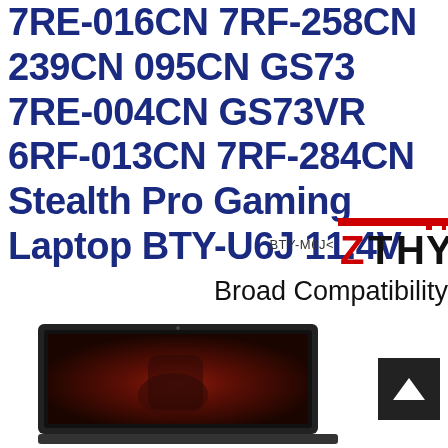7RE-016CN 7RF-258CN 239CN 095CN GS73 7RE-004CN GS73VR 6RF-013CN 7RF-284CN Stealth Pro Gaming Laptop BTY-U6J 11.4V
[Figure (logo): ZTHY brand logo with red and black text, preceded by BTY-M6J< label]
Broad Compatibility
[Figure (photo): Gaming laptop with dark red fantasy game wallpaper on screen, shown from front-angled view]